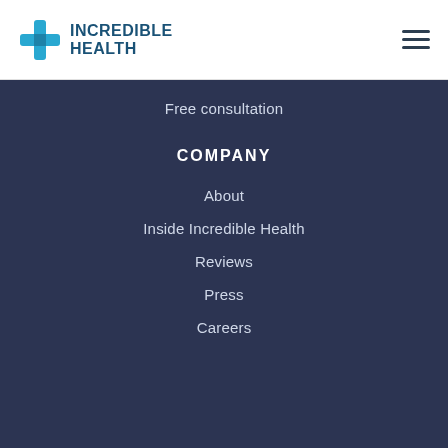[Figure (logo): Incredible Health logo with blue cross/plus icon and text INCREDIBLE HEALTH]
Free consultation
COMPANY
About
Inside Incredible Health
Reviews
Press
Careers